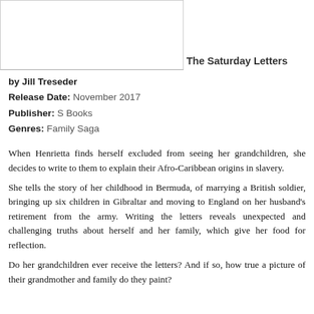[Figure (other): Book cover placeholder image area (white/grey rectangle)]
The Saturday Letters
by Jill Treseder
Release Date: November 2017
Publisher: S Books
Genres: Family Saga
When Henrietta finds herself excluded from seeing her grandchildren, she decides to write to them to explain their Afro-Caribbean origins in slavery.
She tells the story of her childhood in Bermuda, of marrying a British soldier, bringing up six children in Gibraltar and moving to England on her husband’s retirement from the army. Writing the letters reveals unexpected and challenging truths about herself and her family, which give her food for reflection.
Do her grandchildren ever receive the letters? And if so, how true a picture of their grandmother and family do they paint?